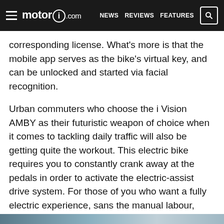motor1.com | NEWS | REVIEWS | FEATURES
corresponding license. What's more is that the mobile app serves as the bike's virtual key, and can be unlocked and started via facial recognition.
Urban commuters who choose the i Vision AMBY as their futuristic weapon of choice when it comes to tackling daily traffic will also be getting quite the workout. This electric bike requires you to constantly crank away at the pedals in order to activate the electric-assist drive system. For those of you who want a fully electric experience, sans the manual labour, BMW has also launched the Vision AMBY (without the "i"), which is basically the same thing, except without the pedals.
[Figure (photo): Partial view of a motorcycle/vehicle image at the bottom of the page]